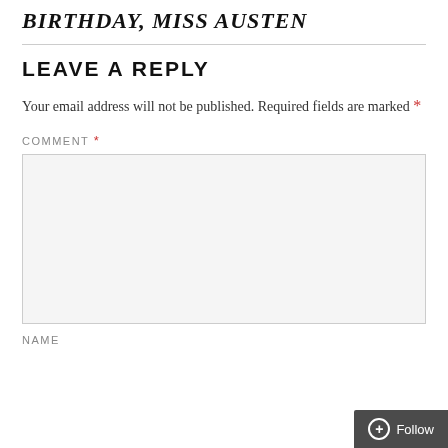BIRTHDAY, MISS AUSTEN
LEAVE A REPLY
Your email address will not be published. Required fields are marked *
COMMENT *
NAME